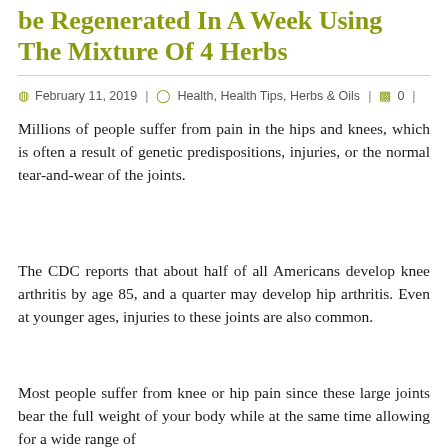be Regenerated In A Week Using The Mixture Of 4 Herbs
February 11, 2019 | Health, Health Tips, Herbs & Oils | 0 |
Millions of people suffer from pain in the hips and knees, which is often a result of genetic predispositions, injuries, or the normal tear-and-wear of the joints.
The CDC reports that about half of all Americans develop knee arthritis by age 85, and a quarter may develop hip arthritis. Even at younger ages, injuries to these joints are also common.
Most people suffer from knee or hip pain since these large joints bear the full weight of your body while at the same time allowing for a wide range of